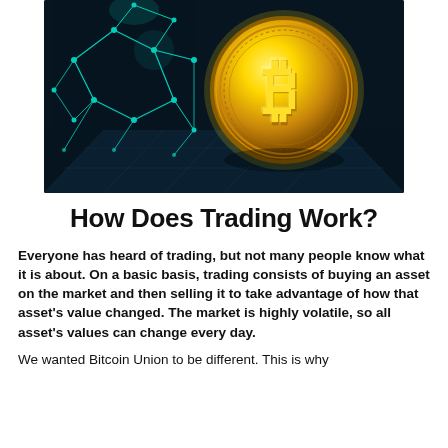[Figure (photo): A glowing golden Bitcoin coin with the Bitcoin symbol on it, surrounded by a teal/cyan digital network or constellation graphic against a dark background.]
How Does Trading Work?
Everyone has heard of trading, but not many people know what it is about. On a basic basis, trading consists of buying an asset on the market and then selling it to take advantage of how that asset's value changed. The market is highly volatile, so all asset's values can change every day.
We wanted Bitcoin Union to be different. This is why